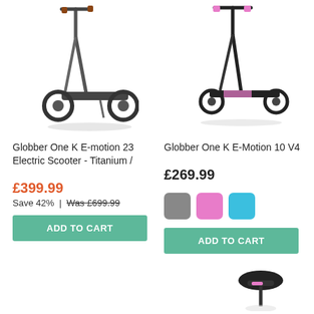[Figure (photo): Globber One K E-motion 23 Electric Scooter in titanium/dark color, shown at an angle]
[Figure (photo): Globber One K E-Motion 10 V4 scooter in black and pink, shown at an angle]
Globber One K E-motion 23 Electric Scooter - Titanium /
Globber One K E-Motion 10 V4
£399.99
Save 42% | Was £699.99
ADD TO CART
£269.99
ADD TO CART
[Figure (photo): Partial view of a scooter handlebar/seat area at the bottom right of the page]